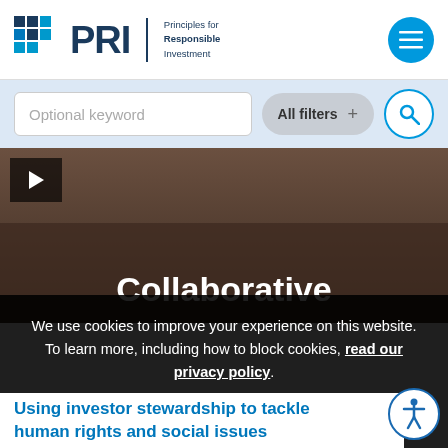PRI – Principles for Responsible Investment
Optional keyword
All filters +
[Figure (screenshot): Video thumbnail showing people at a table with overlay text 'Collaborative']
We use cookies to improve your experience on this website. To learn more, including how to block cookies, read our privacy policy.
Join the Initiative
Using investor stewardship to tackle human rights and social issues